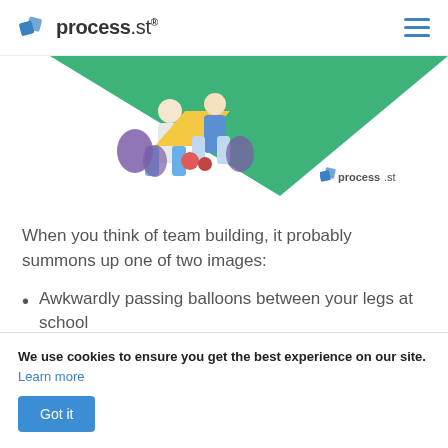process.st
[Figure (illustration): Hero illustration showing people working with tools on a green diagonal background, with a process.st logo watermark in the lower right.]
When you think of team building, it probably summons up one of two images:
Awkwardly passing balloons between your legs at school
Awkwardly falling backwards into to the arms
We use cookies to ensure you get the best experience on our site. Learn more